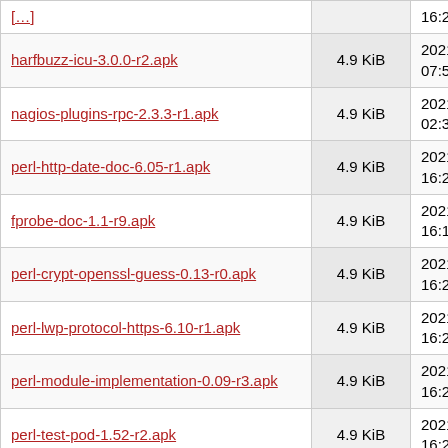| Filename | Size | Date |
| --- | --- | --- |
| […] |  | 16:23:54 |
| harfbuzz-icu-3.0.0-r2.apk | 4.9 KiB | 2021-11-04 07:53:57 |
| nagios-plugins-rpc-2.3.3-r1.apk | 4.9 KiB | 2021-11-03 02:33:06 |
| perl-http-date-doc-6.05-r1.apk | 4.9 KiB | 2021-10-17 16:23:53 |
| fprobe-doc-1.1-r9.apk | 4.9 KiB | 2021-10-17 16:19:48 |
| perl-crypt-openssl-guess-0.13-r0.apk | 4.9 KiB | 2021-10-17 16:23:50 |
| perl-lwp-protocol-https-6.10-r1.apk | 4.9 KiB | 2021-10-17 16:23:53 |
| perl-module-implementation-0.09-r3.apk | 4.9 KiB | 2021-10-17 16:23:53 |
| perl-test-pod-1.52-r2.apk | 4.9 KiB | 2021-10-17 16:23:54 |
| libtiffxx-4.3.0-r1.apk | 4.9 KiB | 2022-04-20 13:26:09 |
| eventlog-dev-0.2.13-r2.apk | 4.9 KiB | 2021-10-17 16:19:40 |
| libdaemon-doc-0.14-r2.apk | 4.9 KiB | 2021-10-17 |